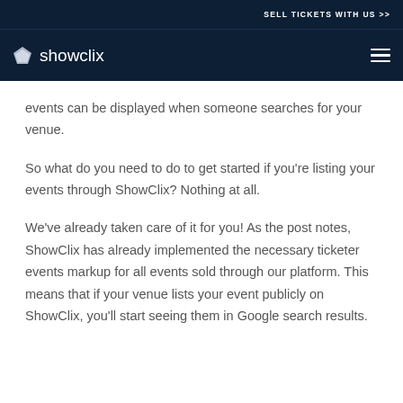SELL TICKETS WITH US >>
[Figure (logo): ShowClix logo with diamond icon and text 'showclix' in white on dark navy background, with hamburger menu icon on the right]
events can be displayed when someone searches for your venue.
So what do you need to do to get started if you’re listing your events through ShowClix? Nothing at all.
We’ve already taken care of it for you! As the post notes, ShowClix has already implemented the necessary ticketer events markup for all events sold through our platform. This means that if your venue lists your event publicly on ShowClix, you’ll start seeing them in Google search results.